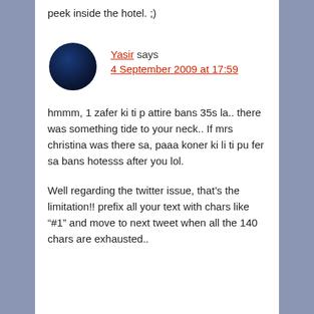peek inside the hotel. ;)
Yasir says
4 September 2009 at 17:59
[Figure (illustration): Dark blue circular avatar/profile picture]
hmmm, 1 zafer ki ti p attire bans 35s la.. there was something tide to your neck.. If mrs christina was there sa, paaa koner ki li ti pu fer sa bans hotesss after you lol.
Well regarding the twitter issue, that’s the limitation!! prefix all your text with chars like “#1” and move to next tweet when all the 140 chars are exhausted..